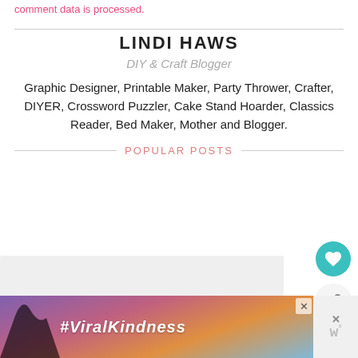comment data is processed.
LINDI HAWS
DIY & Craft Blogger
Graphic Designer, Printable Maker, Party Thrower, Crafter, DIYER, Crossword Puzzler, Cake Stand Hoarder, Classics Reader, Bed Maker, Mother and Blogger.
POPULAR POSTS
[Figure (photo): Popular post image area, light grey placeholder]
[Figure (infographic): Heart/like button (teal circle with heart icon) and share button (grey circle with share icon)]
WHAT'S NEXT → Camping Party Ideas &...
[Figure (photo): Advertisement banner with #ViralKindness text and heart silhouette on sunset background]